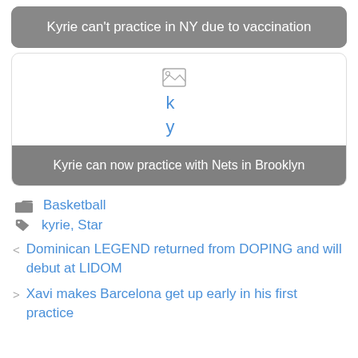Kyrie can't practice in NY due to vaccination
[Figure (photo): Broken image placeholder showing letters 'k' and 'y' in blue, representing a failed image load]
Kyrie can now practice with Nets in Brooklyn
Basketball
kyrie, Star
Dominican LEGEND returned from DOPING and will debut at LIDOM
Xavi makes Barcelona get up early in his first practice